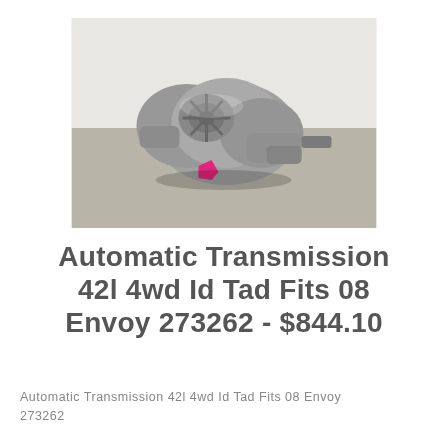[Figure (photo): Photograph of an automatic transmission unit (silver/grey metal, complex gearing assembly) with a pink tag attached, placed on a concrete floor against a white wall.]
Automatic Transmission 42l 4wd Id Tad Fits 08 Envoy 273262 - $844.10
Automatic Transmission 42l 4wd Id Tad Fits 08 Envoy 273262